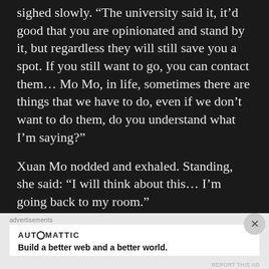sighed slowly. “The university said it, it’d good that you are opinionated and stand by it, but regardless they will still save you a spot. If you still want to go, you can contact them… Mo Mo, in life, sometimes there are things that we have to do, even if we don’t want to do them, do you understand what I’m saying?”
Xuan Mo nodded and exhaled. Standing, she said: “I will think about this… I’m going back to my room.”
“Enh. I’ll call you when dinner’s ready.” Xuan Mo’s mother stood too. As she did, she massaged
Advertisements
AUTOMATTIC
Build a better web and a better world.